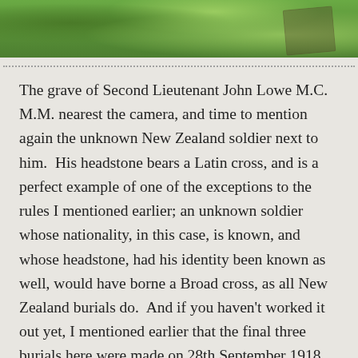[Figure (photo): Photograph showing green grass and a grave or memorial partially visible in the upper right corner of the image.]
The grave of Second Lieutenant John Lowe M.C. M.M. nearest the camera, and time to mention again the unknown New Zealand soldier next to him.  His headstone bears a Latin cross, and is a perfect example of one of the exceptions to the rules I mentioned earlier; an unknown soldier whose nationality, in this case, is known, and whose headstone, had his identity been known as well, would have borne a Broad cross, as all New Zealand burials do.  And if you haven't worked it out yet, I mentioned earlier that the final three burials here were made on 28th September 1918, two, Privates McPhee and Christie at the end of Row B, above far left, whom we visited earlier,...